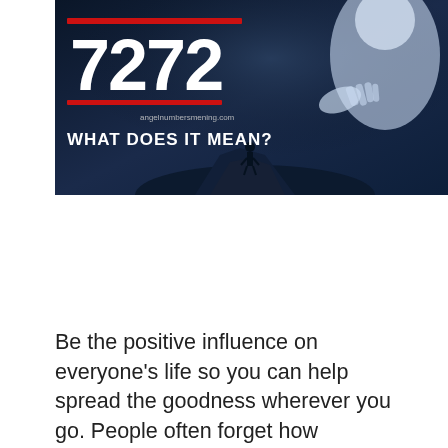[Figure (illustration): Dark blue atmospheric image with a large white number '7272' in bold text, red horizontal bars above and below the number, text 'angelnumbersmening.com' in small white text, and 'WHAT DOES IT MEAN?' in white text below. Background shows a silhouette of a person standing on a rock and a ghostly white figure/angel in the upper right corner.]
Be the positive influence on everyone's life so you can help spread the goodness wherever you go. People often forget how powerful goodness can be